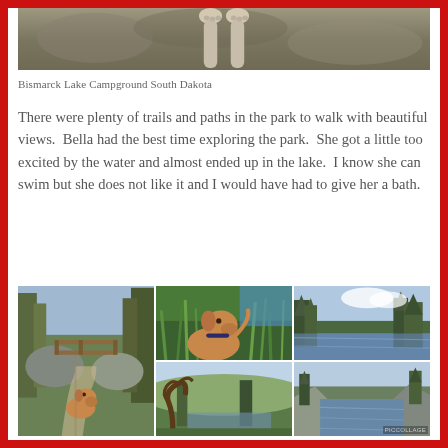[Figure (photo): Close-up photo of dog paws on rocky surface, top portion cropped]
Bismarck Lake Campground South Dakota
There were plenty of trails and paths in the park to walk with beautiful views.  Bella had the best time exploring the park.  She got a little too excited by the water and almost ended up in the lake.  I know she can swim but she does not like it and I would have had to give her a bath.
[Figure (photo): Collage of six photos showing a dog (Bella) and scenic views at Bismarck Lake Campground South Dakota — dog looking up near tall grass, boardwalk trail through forest, lake view with trees, landscape with twisted tree, dog standing on rocks on trail, lake reflection with rocky cliffs. PICCOLLAGE watermark visible.]